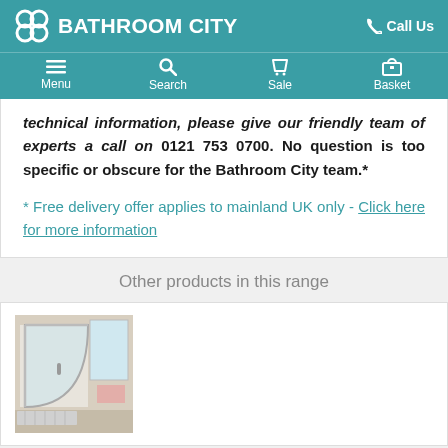BATHROOM CITY  Call Us
Menu  Search  Sale  Basket
technical information, please give our friendly team of experts a call on 0121 753 0700. No question is too specific or obscure for the Bathroom City team.*
* Free delivery offer applies to mainland UK only - Click here for more information
Other products in this range
[Figure (photo): Shower enclosure product photo showing a curved glass shower enclosure with chrome fittings in a bathroom setting]